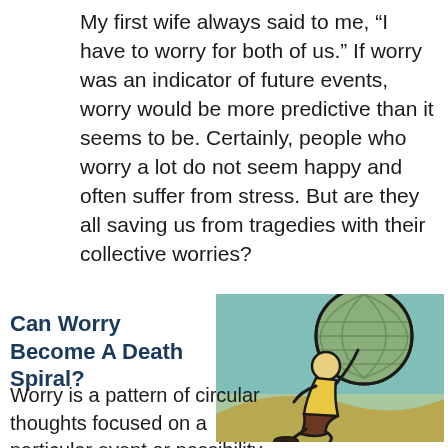My first wife always said to me, “I have to worry for both of us.” If worry was an indicator of future events, worry would be more predictive than it seems to be. Certainly, people who worry a lot do not seem happy and often suffer from stress. But are they all saving us from tragedies with their collective worries?
Can Worry Become A Death Spiral?
[Figure (illustration): Cartoon illustration of a figure (person with a round globe-like head with grid lines, wearing a yellow top and dark pants) kneeling and carrying/holding up a large green globe on their back, set against a teal/green background with curved lines suggesting ground.]
Worry is a pattern of circular thoughts focused on a particular event or possibility that makes us anxious. We believe